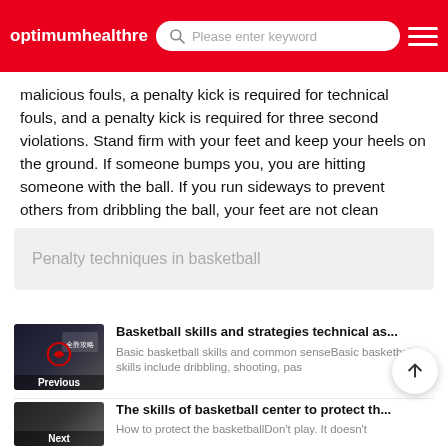optimumhealthre | Please enter keyword
malicious fouls, a penalty kick is required for technical fouls, and a penalty kick is required for three second violations. Stand firm with your feet and keep your heels on the ground. If someone bumps you, you are hitting someone with the ball. If you run sideways to prevent others from dribbling the ball, your feet are not clean
Penalty techniques in basketball
Basketball skills and strategies technical as...
Basic basketball skills and common senseBasic basketball skills include dribbling, shooting, pas...
The skills of basketball center to protect th...
How to protect the basketballDon't play. It doesn't